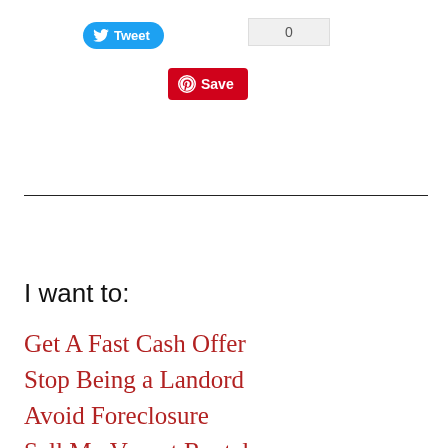[Figure (other): Twitter Tweet button (blue pill shape with bird icon and 'Tweet' text)]
[Figure (other): Tweet count box showing '0']
[Figure (other): Pinterest Save button (red rectangle with Pinterest logo and 'Save' text)]
I want to:
Get A Fast Cash Offer
Stop Being a Landord
Avoid Foreclosure
Sell My Vacant Rental